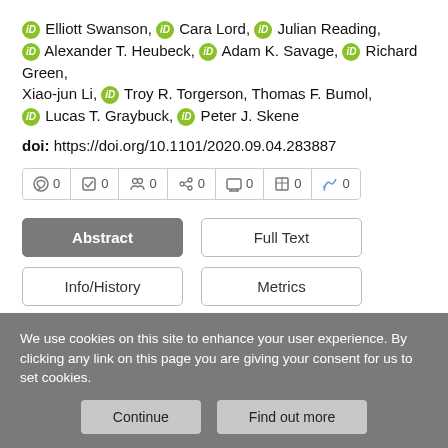Elliott Swanson, Cara Lord, Julian Reading, Alexander T. Heubeck, Adam K. Savage, Richard Green, Xiao-jun Li, Troy R. Torgerson, Thomas F. Bumol, Lucas T. Graybuck, Peter J. Skene
doi: https://doi.org/10.1101/2020.09.04.283887
[Figure (other): Metrics row with icons and zero counts: comment 0, review 0, people 0, connections 0, monitor 0, grid 0, twitter 0]
Abstract | Full Text | Info/History | Metrics | Preview PDF
We use cookies on this site to enhance your user experience. By clicking any link on this page you are giving your consent for us to set cookies.